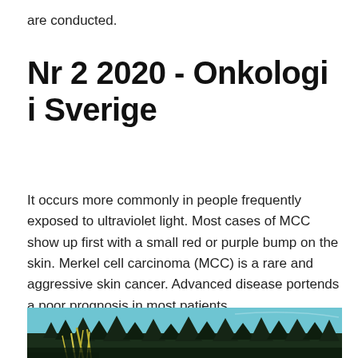are conducted.
Nr 2 2020 - Onkologi i Sverige
It occurs more commonly in people frequently exposed to ultraviolet light. Most cases of MCC show up first with a small red or purple bump on the skin. Merkel cell carcinoma (MCC) is a rare and aggressive skin cancer. Advanced disease portends a poor prognosis in most patients.
[Figure (photo): Outdoor nature photo showing grass or reeds in the foreground and evergreen trees against a blue sky in the background.]